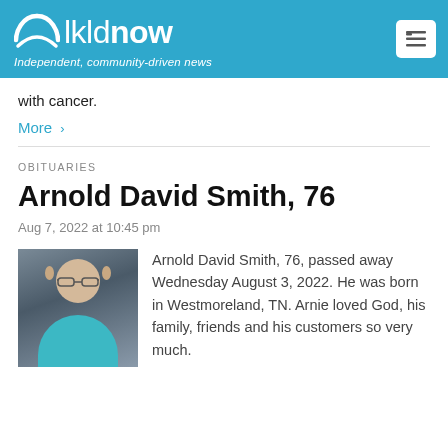lkldnow — Independent, community-driven news
with cancer.
More >
OBITUARIES
Arnold David Smith, 76
Aug 7, 2022 at 10:45 pm
[Figure (photo): Portrait photo of Arnold David Smith, an older man wearing glasses and a teal/turquoise polo shirt, photographed against a dark background.]
Arnold David Smith, 76, passed away Wednesday August 3, 2022. He was born in Westmoreland, TN. Arnie loved God, his family, friends and his customers so very much.